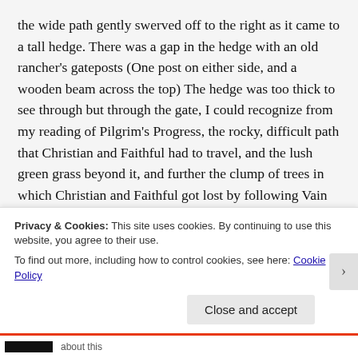the wide path gently swerved off to the right as it came to a tall hedge. There was a gap in the hedge with an old rancher's gateposts (One post on either side, and a wooden beam across the top) The hedge was too thick to see through but through the gate, I could recognize from my reading of Pilgrim's Progress, the rocky, difficult path that Christian and Faithful had to travel, and the lush green grass beyond it, and further the clump of trees in which Christian and Faithful got lost by following Vain Confidence. I looked through the gate narrow so that two people could walk side-by-side, but kept on going down the wide corn-mowed path. I did not know that it was leading me out of the way. I thought that the gate was like the
Privacy & Cookies: This site uses cookies. By continuing to use this website, you agree to their use.
To find out more, including how to control cookies, see here: Cookie Policy
Close and accept